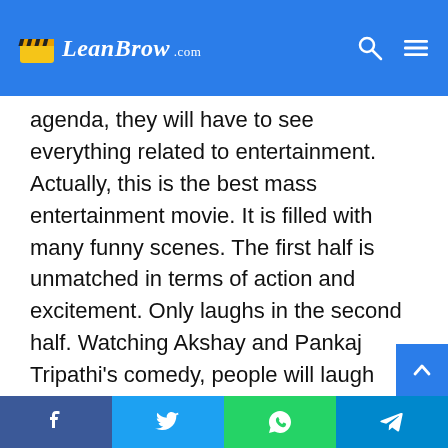LeanBrow.com
agenda, they will have to see everything related to entertainment. Actually, this is the best mass entertainment movie. It is filled with many funny scenes. The first half is unmatched in terms of action and excitement. Only laughs in the second half. Watching Akshay and Pankaj Tripathi’s comedy, people will laugh while clutching their stomach. Seeing Pankaj Tripathi in the second half, Gujarati people will go mad with laughter.
Bachchan Pandey is directed by Farhad Samji. Her work is also being praised. In addition to Akshay-Kriti-Pankaj, other actors in the film were also praised, including…
Facebook Twitter WhatsApp Telegram